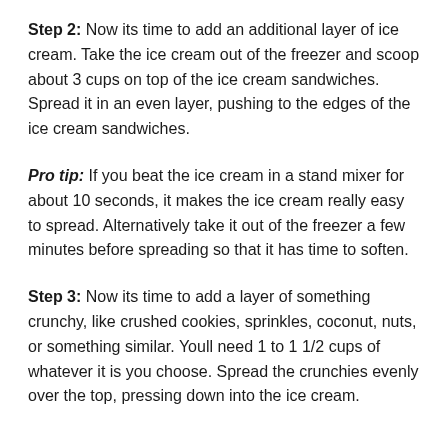Step 2: Now its time to add an additional layer of ice cream. Take the ice cream out of the freezer and scoop about 3 cups on top of the ice cream sandwiches. Spread it in an even layer, pushing to the edges of the ice cream sandwiches.
Pro tip: If you beat the ice cream in a stand mixer for about 10 seconds, it makes the ice cream really easy to spread. Alternatively take it out of the freezer a few minutes before spreading so that it has time to soften.
Step 3: Now its time to add a layer of something crunchy, like crushed cookies, sprinkles, coconut, nuts, or something similar. Youll need 1 to 1 1/2 cups of whatever it is you choose. Spread the crunchies evenly over the top, pressing down into the ice cream.